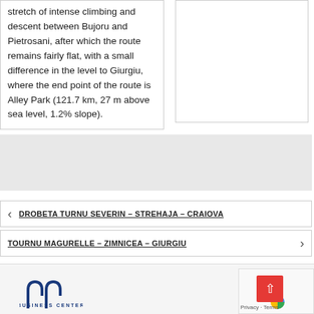stretch of intense climbing and descent between Bujoru and Pietrosani, after which the route remains fairly flat, with a small difference in the level to Giurgiu, where the end point of the route is Alley Park (121.7 km, 27 m above sea level, 1.2% slope).
[Figure (other): Gray placeholder block]
< DROBETA TURNU SEVERIN – STREHAJA – CRAIOVA
TOURNU MAGURELLE – ZIMNICEA – GIURGIU >
[Figure (logo): Vidin Business Center logo]
[Figure (other): Google reCAPTCHA badge with Privacy and Terms links and scroll-to-top button]